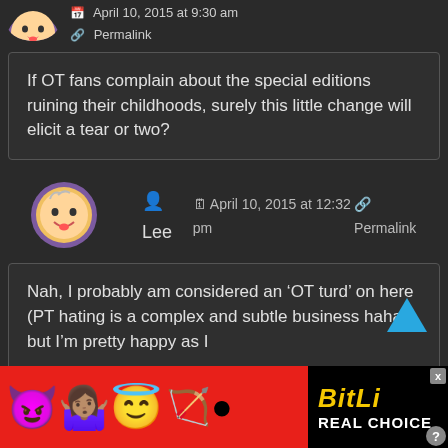[Figure (illustration): Partial avatar of a cartoon character with purple border, tongue-out emoji style, partially cropped at top]
April 10, 2015 at 9:30 am
Permalink
If OT fans complain about the special editions ruining their childhoods, surely this little change will elicit a tear or two?
[Figure (illustration): Circular avatar of a smiley face emoji with purple octagonal border]
Lee
April 10, 2015 at 12:32 pm
Permalink
Nah, I probably am considered an ‘OT turd’ on here (PT hating is a complex and subtle business haha), but I’m pretty happy as I
[Figure (advertisement): BitLife advertisement banner with red background showing emoji characters and text REAL CHOICE]